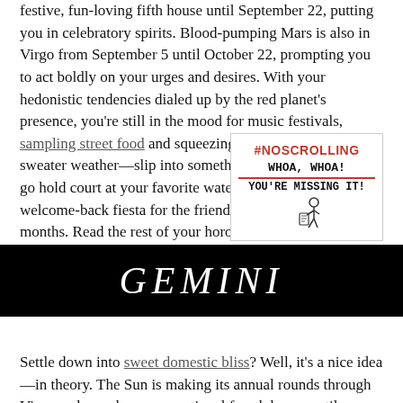festive, fun-loving fifth house until September 22, putting you in celebratory spirits. Blood-pumping Mars is also in Virgo from September 5 until October 22, prompting you to act boldly on your urges and desires. With your hedonistic tendencies dialed up by the red planet's presence, you're still in the mood for music festivals, sampling street food and squeezing i... sweater weather—slip into something... go hold court at your favorite waterin... welcome-back fiesta for the friends yo... months. Read the rest of your horoscope here, Taurus!
[Figure (infographic): Ad overlay with #NOSCROLLING in red, WHOA, WHOA! in monospace with red underline, YOU'RE MISSING IT! text, and a small cartoon figure]
GEMINI
Settle down into sweet domestic bliss? Well, it's a nice idea—in theory. The Sun is making its annual rounds through Virgo and your homey, emotional fourth house until September 22, putting